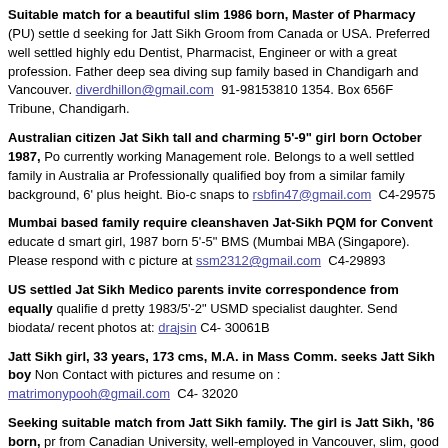Suitable match for a beautiful slim 1986 born, Master of Pharmacy (PU) settled seeking for Jatt Sikh Groom from Canada or USA. Preferred well settled highly edu Dentist, Pharmacist, Engineer or with a great profession. Father deep sea diving sup family based in Chandigarh and Vancouver. diverdhillon@gmail.com 91-981538100 1354. Box 656F Tribune, Chandigarh.
Australian citizen Jat Sikh tall and charming 5'-9" girl born October 1987, Po currently working Management role. Belongs to a well settled family in Australia ar Professionally qualified boy from a similar family background, 6' plus height. Bio-c snaps to rsbfin47@gmail.com C4-29575
Mumbai based family require cleanshaven Jat-Sikh PQM for Convent educated smart girl, 1987 born 5'-5" BMS (Mumbai MBA (Singapore). Please respond with c picture at ssm2312@gmail.com C4-29893
US settled Jat Sikh Medico parents invite correspondence from equally qualified pretty 1983/5'-2" USMD specialist daughter. Send biodata/ recent photos at: drajsin C4- 30061B
Jatt Sikh girl, 33 years, 173 cms, M.A. in Mass Comm. seeks Jatt Sikh boy Non Contact with pictures and resume on : matrimonypooh@gmail.com C4- 32020
Seeking suitable match from Jatt Sikh family. The girl is Jatt Sikh, '86 born, pr from Canadian University, well-employed in Vancouver, slim, good looking, and a G Height 5'-2". Well-educated family. Reply with full particulars and photos to: jal.all C4-32078
Suitable match for fair Gill Jatt Sikh girl, 28 years, August 1985, 5'-3", Electron Engg. College Mohali as Electronics Lecturer. 9888998990. gill.eee@gmail.com C